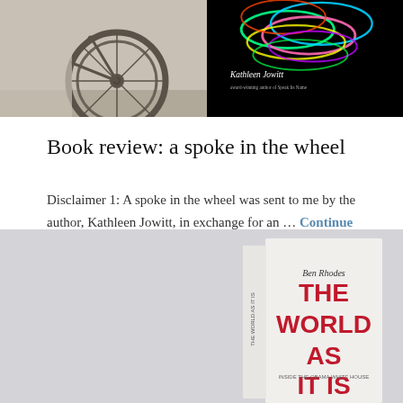[Figure (photo): Two images side by side: left shows a bicycle wheel in black and white/sepia, right shows a book cover on black background with colorful neon circular shapes and text 'Kathleen Jowitt']
Book review: a spoke in the wheel
Disclaimer 1: A spoke in the wheel was sent to me by the author, Kathleen Jowitt, in exchange for an … Continue Reading
[Figure (photo): Photo of a book titled 'THE WORLD AS IT IS' by Ben Rhodes, shown as a physical book standing at an angle on a light gray background]